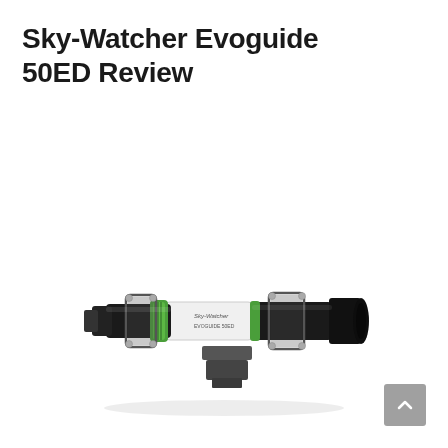Sky-Watcher Evoguide 50ED Review
[Figure (photo): Sky-Watcher Evoguide 50ED guide scope telescope with black tube, white body section, green accent rings, mounting rings with screws, and a dovetail mounting foot underneath. The lens cap end is on the left and the open aperture is on the right.]